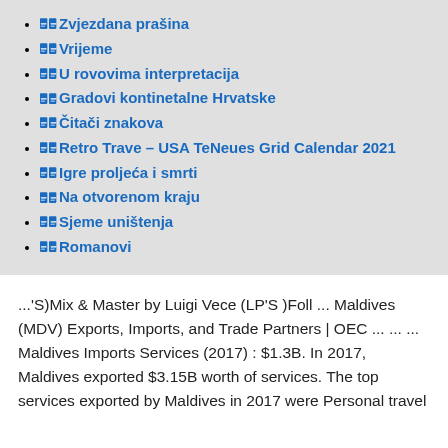Zvjezdana prašina
Vrijeme
U rovovima interpretacija
Gradovi kontinetalne Hrvatske
Čitači znakova
Retro Trave – USA TeNeues Grid Calendar 2021
Igre proljeća i smrti
Na otvorenom kraju
Sjeme uništenja
Romanovi
...'S)Mix & Master by Luigi Vece (LP'S )Foll ... Maldives (MDV) Exports, Imports, and Trade Partners | OEC ... ... ... Maldives Imports Services (2017) : $1.3B. In 2017, Maldives exported $3.15B worth of services. The top services exported by Maldives in 2017 were Personal travel